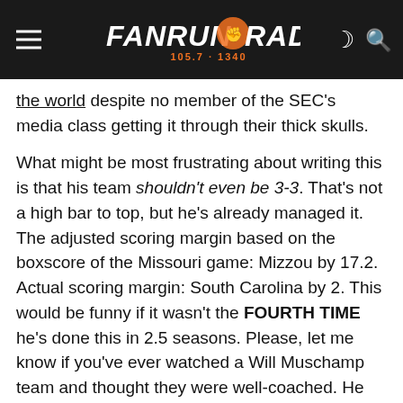FANRUN RADIO 105.7 - 1340
the world despite no member of the SEC's media class getting it through their thick skulls.

What might be most frustrating about writing this is that his team shouldn't even be 3-3. That's not a high bar to top, but he's already managed it. The adjusted scoring margin based on the boxscore of the Missouri game: Mizzou by 17.2. Actual scoring margin: South Carolina by 2. This would be funny if it wasn't the FOURTH TIME he's done this in 2.5 seasons. Please, let me know if you've ever watched a Will Muschamp team and thought they were well-coached. He already ran this Ponzi scheme at Florida on a grander scale; at least that group only went 4-3 in one-score games his first two years before caking their pants in 2013.

All that talking point about this team is the off...